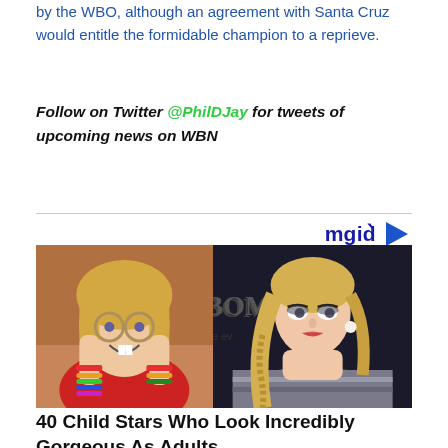by the WBO, although an agreement with Santa Cruz would entitle the formidable champion to a reprieve.
Follow on Twitter @PhilDJay for tweets of upcoming news on WBN
[Figure (photo): Side-by-side photos: left shows a young girl with round glasses making a funny face with bracelets on her wrists; right shows a young blonde woman at a formal event in front of a backdrop.]
40 Child Stars Who Look Incredibly Gorgeous As Adults